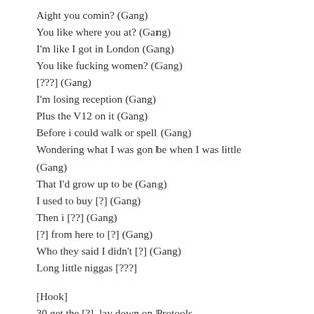Aight you comin? (Gang)
You like where you at? (Gang)
I'm like I got in London (Gang)
You like fucking women? (Gang)
[???] (Gang)
I'm losing reception (Gang)
Plus the V12 on it (Gang)
Before i could walk or spell (Gang)
Wondering what I was gon be when I was little (Gang)
That I'd grow up to be (Gang)
I used to buy [?] (Gang)
Then i [??] (Gang)
[?] from here to [?] (Gang)
Who they said I didn't [?] (Gang)
Long little niggas [???]
[Hook]
30 get the [?], lay down on Protools